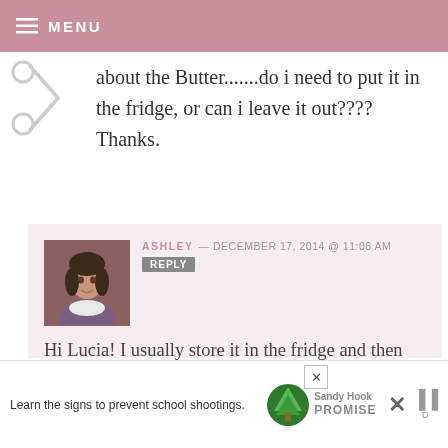MENU
about the Butter.......do i need to put it in the fridge, or can i leave it out???? Thanks.
ASHLEY — DECEMBER 17, 2014 @ 11:06 AM REPLY
Hi Lucia! I usually store it in the fridge and then take it out in advance of when I need it to let it soften up (usually an hour or two).
Learn the signs to prevent school shootings. Sandy Hook PROMISE